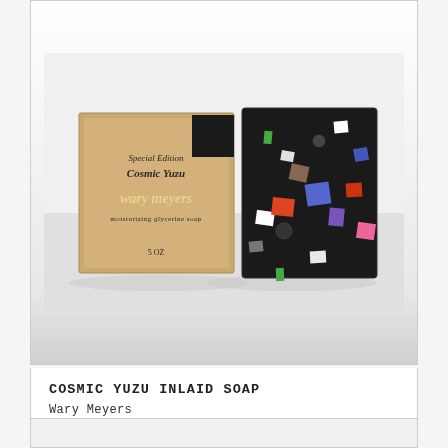[Figure (photo): Product photo showing Wary Meyers Cosmic Yuzu Inlaid Soap. On the left is a kraft brown paper box labeled 'Special Edition Cosmic Yuzu Wary Meyers moisturizing glycerine soap 5 oz'. On the right is a black rectangular soap bar with colorful geometric confetti shapes embedded in it — squares and rectangles in colors including white, blue, purple, orange/red, pink, green, and grey.]
COSMIC YUZU INLAID SOAP
Wary Meyers
S$20.00 SGD
[Figure (photo): Partially visible second product card, showing only a light grey/white background — product image not fully visible.]